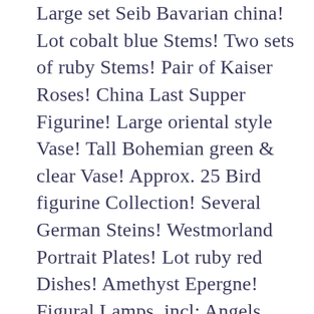Large set Seib Bavarian china! Lot cobalt blue Stems! Two sets of ruby Stems! Pair of Kaiser Roses! China Last Supper Figurine! Large oriental style Vase! Tall Bohemian green & clear Vase! Approx. 25 Bird figurine Collection! Several German Steins! Westmorland Portrait Plates! Lot ruby red Dishes! Amethyst Epergne! Figural Lamps, incl: Angels, Cupids, Costumed & Animal! Exceptionally large lot of over 150 Cut, Pressed & Pattern Glass incl: Pitchers, Vases, Compotes, Baskets, Bowls, Covered Dishes, Cake Plates, Bon-Bons, Relish, Platters, Stems, etc.! Hobnail Glassware! Carnival Bowls, Vases, Cracker Jar! Blue Opalescent fluted Dishes! Set of Prosperity Nortaki China! Large Animal Figurines! Over 100 pieces, Westmorland Milk Glass incl: Plates, Cups, Saucers, Bowls, Covered Dishes,